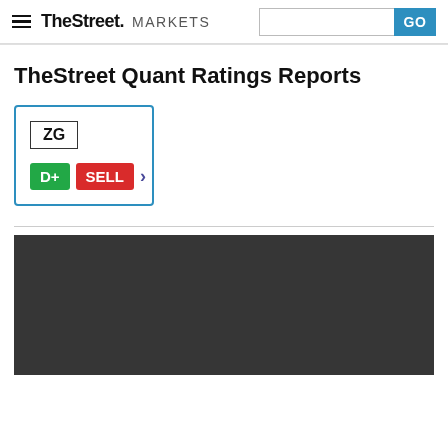TheStreet MARKETS
TheStreet Quant Ratings Reports
[Figure (infographic): Stock rating card for ticker ZG showing D+ rating badge in green and SELL recommendation badge in red, with a right-pointing chevron arrow, inside a blue-bordered card]
[Figure (photo): Dark gray/black image block, content not visible]